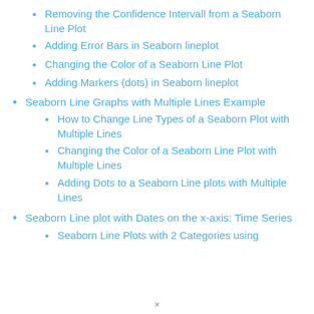Removing the Confidence Intervall from a Seaborn Line Plot
Adding Error Bars in Seaborn lineplot
Changing the Color of a Seaborn Line Plot
Adding Markers (dots) in Seaborn lineplot
Seaborn Line Graphs with Multiple Lines Example
How to Change Line Types of a Seaborn Plot with Multiple Lines
Changing the Color of a Seaborn Line Plot with Multiple Lines
Adding Dots to a Seaborn Line plots with Multiple Lines
Seaborn Line plot with Dates on the x-axis: Time Series
Seaborn Line Plots with 2 Categories using